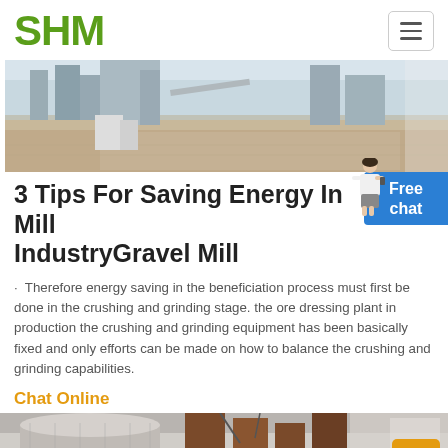SHM
[Figure (photo): Aerial view of an industrial quarry/crushing plant site with machinery and gravel ground]
3 Tips For Saving Energy In Mill IndustryGravel Mill
· Therefore energy saving in the beneficiation process must first be done in the crushing and grinding stage. the ore dressing plant in production the crushing and grinding equipment has been basically fixed and only efforts can be made on how to balance the crushing and grinding capabilities.
Chat Online
[Figure (photo): Industrial mill/grinder equipment in a factory setting, showing large cylindrical grinding machinery]